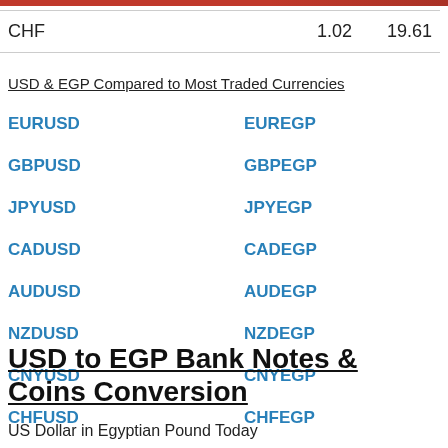| Currency | Rate1 | Rate2 |
| --- | --- | --- |
| CHF | 1.02 | 19.61 |
USD & EGP Compared to Most Traded Currencies
EURUSD   EUREGP
GBPUSD   GBPEGP
JPYUSD   JPYEGP
CADUSD   CADEGP
AUDUSD   AUDEGP
NZDUSD   NZDEGP
CNYUSD   CNYEGP
CHFUSD   CHFEGP
USD to EGP Bank Notes & Coins Conversion
US Dollar in Egyptian Pound Today